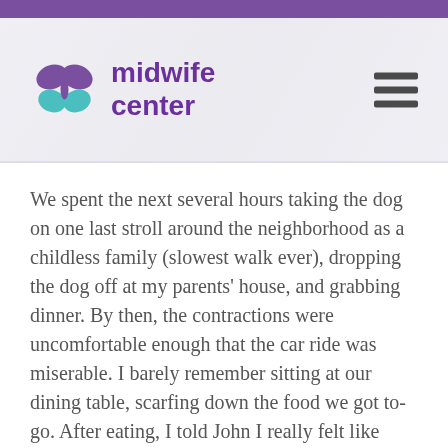midwife center
We spent the next several hours taking the dog on one last stroll around the neighborhood as a childless family (slowest walk ever), dropping the dog off at my parents' house, and grabbing dinner. By then, the contractions were uncomfortable enough that the car ride was miserable. I barely remember sitting at our dining table, scarfing down the food we got to-go. After eating, I told John I really felt like lying in bed in the dark. We laid down together for about an hour until we finally decided it was time to call Theresa again. As we were on the phone together and she asked if I felt ready to come in, I had another contraction that left me unable to speak.